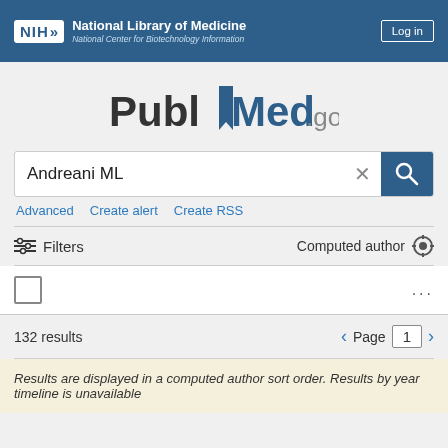NIH National Library of Medicine National Center for Biotechnology Information | Log in
[Figure (logo): PubMed.gov logo with stylized bookmark icon between 'Publ' and 'Med']
Andreani ML
Advanced   Create alert   Create RSS
Filters   Computed author
132 results   Page 1
Results are displayed in a computed author sort order. Results by year timeline is unavailable